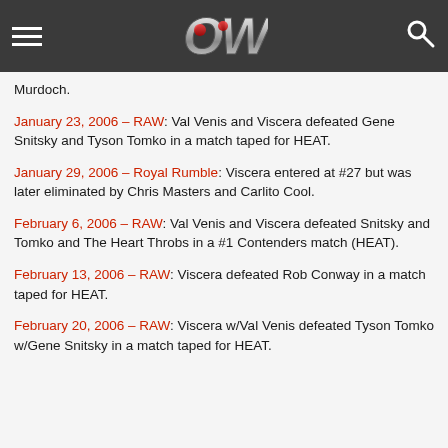OWW (logo)
Murdoch.
January 23, 2006 – RAW: Val Venis and Viscera defeated Gene Snitsky and Tyson Tomko in a match taped for HEAT.
January 29, 2006 – Royal Rumble: Viscera entered at #27 but was later eliminated by Chris Masters and Carlito Cool.
February 6, 2006 – RAW: Val Venis and Viscera defeated Snitsky and Tomko and The Heart Throbs in a #1 Contenders match (HEAT).
February 13, 2006 – RAW: Viscera defeated Rob Conway in a match taped for HEAT.
February 20, 2006 – RAW: Viscera w/Val Venis defeated Tyson Tomko w/Gene Snitsky in a match taped for HEAT.